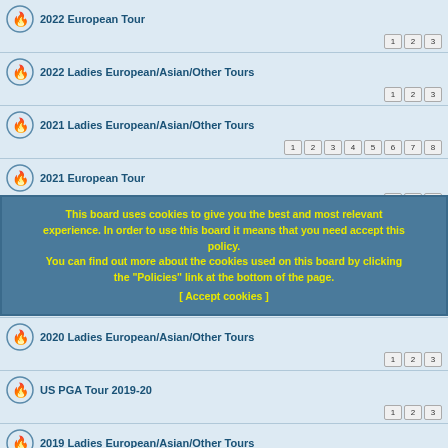2022 European Tour
2022 Ladies European/Asian/Other Tours
2021 Ladies European/Asian/Other Tours
2021 European Tour
US PGA Tour 2020
This board uses cookies to give you the best and most relevant experience. In order to use this board it means that you need accept this policy. You can find out more about the cookies used on this board by clicking the "Policies" link at the bottom of the page. [ Accept cookies ]
2020 European Tour
2020 Ladies European/Asian/Other Tours
US PGA Tour 2019-20
2019 Ladies European/Asian/Other Tours
2019 European Tour